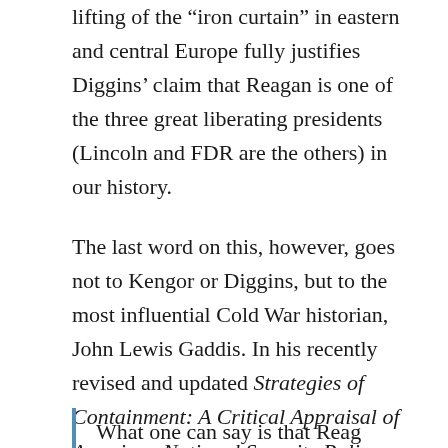lifting of the “iron curtain” in eastern and central Europe fully justifies Diggins’ claim that Reagan is one of the three great liberating presidents (Lincoln and FDR are the others) in our history.
The last word on this, however, goes not to Kengor or Diggins, but to the most influential Cold War historian, John Lewis Gaddis. In his recently revised and updated Strategies of Containment: A Critical Appraisal of American National Security Policy During the Cold War (2005), Gaddis carefully concludes:
What one can say is that Reagan...